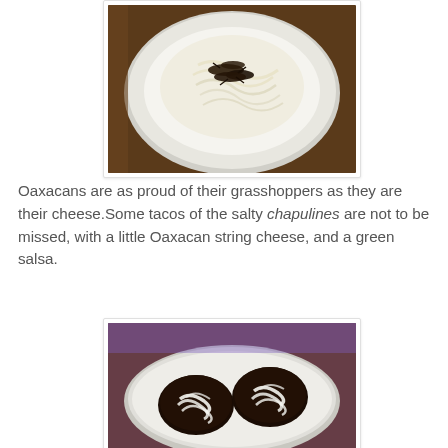[Figure (photo): A white plate with pasta or noodles topped with dark grasshoppers (chapulines), photographed from above on a wooden surface.]
Oaxacans are as proud of their grasshoppers as they are their cheese.Some tacos of the salty chapulines are not to be missed, with a little Oaxacan string cheese, and a green salsa.
[Figure (photo): A white plate with two dark tacos/tostadas topped with white Oaxacan string cheese, photographed in a restaurant setting with purple ambient lighting.]